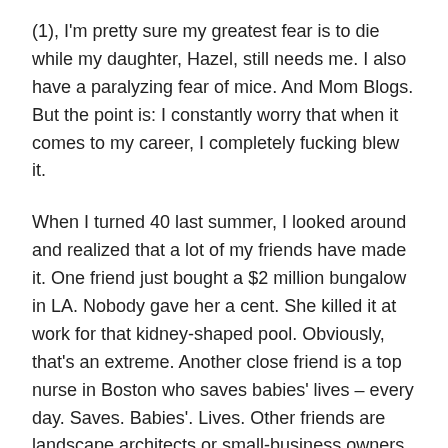(1), I'm pretty sure my greatest fear is to die while my daughter, Hazel, still needs me. I also have a paralyzing fear of mice. And Mom Blogs. But the point is: I constantly worry that when it comes to my career, I completely fucking blew it.
When I turned 40 last summer, I looked around and realized that a lot of my friends have made it. One friend just bought a $2 million bungalow in LA. Nobody gave her a cent. She killed it at work for that kidney-shaped pool. Obviously, that's an extreme. Another close friend is a top nurse in Boston who saves babies' lives – every day. Saves. Babies'. Lives. Other friends are landscape architects or small-business owners or social workers – they all astound me with their accomplishments. I generally feel inadequate compared to all of them.